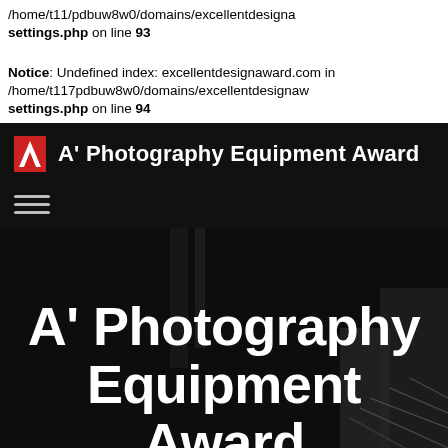/home/t11/pdbuw8w0/domains/excellentdesignaward.com in settings.php on line 93
Notice: Undefined index: excellentdesignaward.com in /home/t117pdbuw8w0/domains/excellentdesignaw settings.php on line 94
A' Photography Equipment Award
[Figure (screenshot): Navigation bar with hamburger menu icon on black background]
[Figure (photo): Hero section with large white text 'A' Photography Equipment Award' over a dark background with blurred photography equipment]